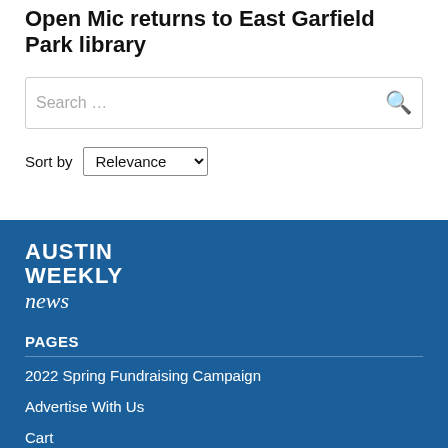Open Mic returns to East Garfield Park library
Search …
Sort by Relevance
[Figure (logo): Austin Weekly News logo in white text on blue background]
PAGES
2022 Spring Fundraising Campaign
Advertise With Us
Cart